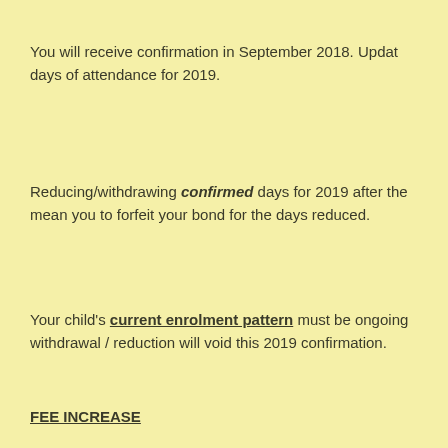You will receive confirmation in September 2018. Updat days of attendance for 2019.
Reducing/withdrawing confirmed days for 2019 after the mean you to forfeit your bond for the days reduced.
Your child's current enrolment pattern must be ongoing withdrawal / reduction will void this 2019 confirmation.
FEE INCREASE